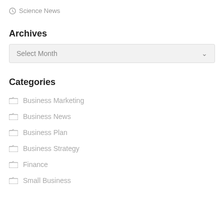Science News
Archives
Select Month
Categories
Business Marketing
Business News
Business Plan
Business Strategy
Finance
Small Business